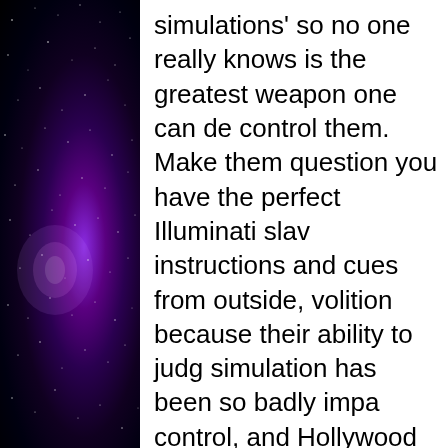[Figure (illustration): Left side panel showing a deep space/galaxy image with purple and violet nebula glow against a black starry background]
simulations' so no one really knows is the greatest weapon one can de control them. Make them question you have the perfect Illuminati slav instructions and cues from outside, volition because their ability to judg simulation has been so badly impa control, and Hollywood just can't re their greatest secrets in plain-sight.

As they arrive at the 'hospital' the c and everyone disappears, Van Orto part of the game and clues his new seems to have seen this all before